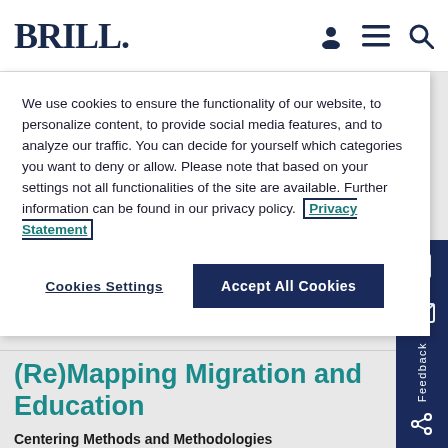BRILL.
We use cookies to ensure the functionality of our website, to personalize content, to provide social media features, and to analyze our traffic. You can decide for yourself which categories you want to deny or allow. Please note that based on your settings not all functionalities of the site are available. Further information can be found in our privacy policy. Privacy Statement
Cookies Settings | Accept All Cookies
(Re)Mapping Migration and Education
Centering Methods and Methodologies
Series: Transnational Migration and Education,
Volume: 8